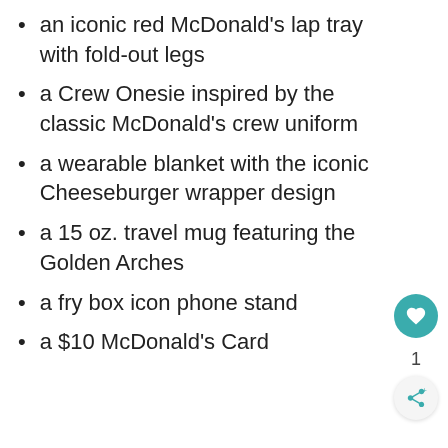an iconic red McDonald's lap tray with fold-out legs
a Crew Onesie inspired by the classic McDonald's crew uniform
a wearable blanket with the iconic Cheeseburger wrapper design
a 15 oz. travel mug featuring the Golden Arches
a fry box icon phone stand
a $10 McDonald's Card